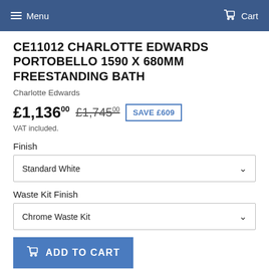Menu   Cart
CE11012 CHARLOTTE EDWARDS PORTOBELLO 1590 X 680MM FREESTANDING BATH
Charlotte Edwards
£1,13600  £1,74500  SAVE £609
VAT included.
Finish
Standard White
Waste Kit Finish
Chrome Waste Kit
ADD TO CART